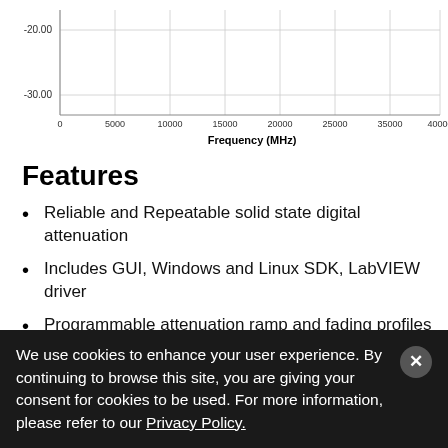[Figure (continuous-plot): Partial frequency response chart showing y-axis values of -20.00 and -30.00, and x-axis labeled Frequency (MHz) with values from 0 to 40000]
Features
Reliable and Repeatable solid state digital attenuation
Includes GUI, Windows and Linux SDK, LabVIEW driver
Programmable attenuation ramp and fading profiles
Operate multiple devices directly from a PC or self-powered hub
We use cookies to enhance your user experience. By continuing to browse this site, you are giving your consent for cookies to be used. For more information, please refer to our Privacy Policy.